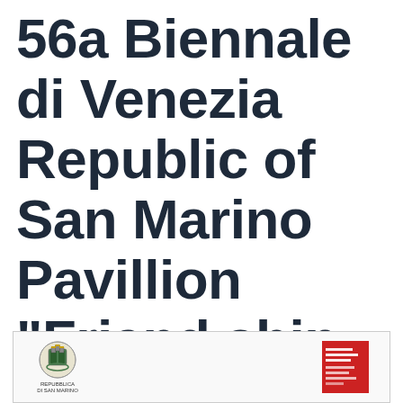56a Biennale di Venezia Republic of San Marino Pavillion "Friendship project-China"
[Figure (logo): Footer bar containing two logos: left is the coat of arms of the Republic of San Marino with text below, right is a red rectangular logo for the San Marino pavilion exhibition.]